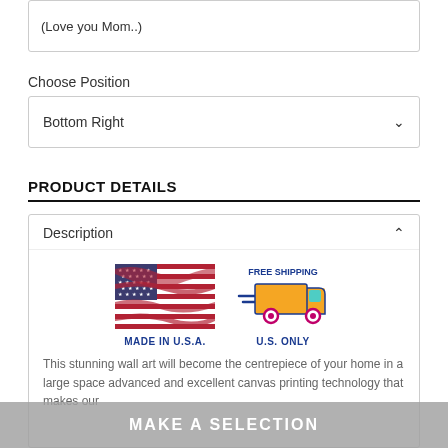(Love you Mom..)
Choose Position
Bottom Right
PRODUCT DETAILS
Description
[Figure (illustration): American flag with text MADE IN U.S.A. below]
[Figure (illustration): Cartoon delivery truck with FREE SHIPPING text above and U.S. ONLY below]
This stunning wall art will become the centrepiece of your home in a large space advanced and excellent canvas printing technology that makes our
MAKE A SELECTION